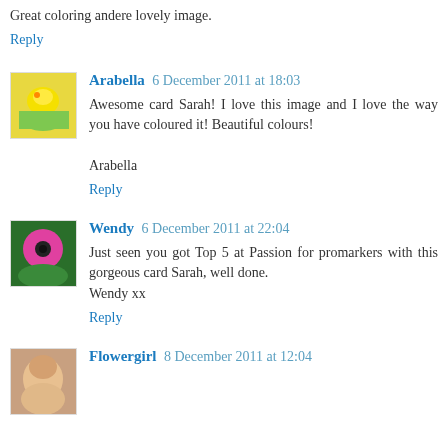Great coloring andere lovely image.
Reply
Arabella  6 December 2011 at 18:03
Awesome card Sarah! I love this image and I love the way you have coloured it! Beautiful colours!

Arabella
Reply
Wendy  6 December 2011 at 22:04
Just seen you got Top 5 at Passion for promarkers with this gorgeous card Sarah, well done.
Wendy xx
Reply
Flowergirl  8 December 2011 at 12:04